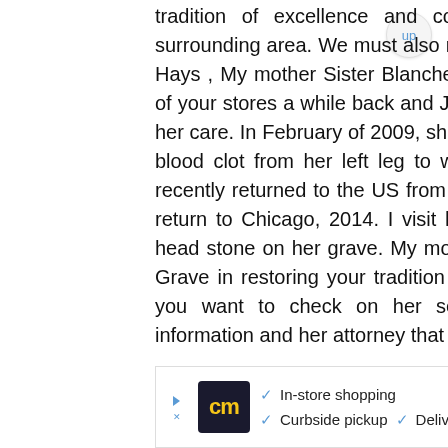tradition of excellence and commitment to Chicago and the surrounding area. We must also not forget to support our youth. Mr. Hays , My mother Sister Blanche Lee Williams, was injured at one of your stores a while back and Jewel- Ossco settled respectfully to her care. In February of 2009, she pass away from that injury with a blood clot from her left leg to which traveled to her lungs. I just recently returned to the US from serving our country , and recently return to Chicago, 2014. I visit her grave and she do not have a head stone on her grave. My mother deserve a head stone on her Grave in restoring your tradition of excellence and commitment. If you want to check on her settlement case i do have such information and her attorney that
[Figure (other): Advertisement banner with cm logo, checkmarks for In-store shopping, Curbside pickup, Delivery, and a navigation arrow icon]